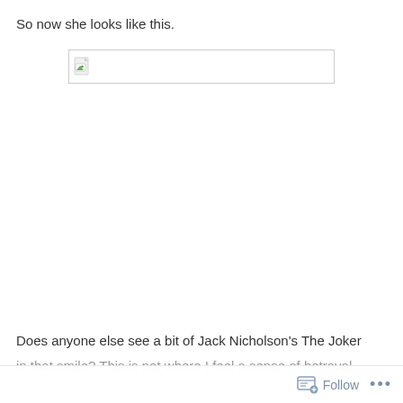So now she looks like this.
[Figure (photo): Broken image placeholder — a browser broken-image icon inside a thin rectangular border, indicating a missing or unloaded image.]
Does anyone else see a bit of Jack Nicholson's The Joker
in that smile? This is not where I feel a sense of betrayal
Follow  •••